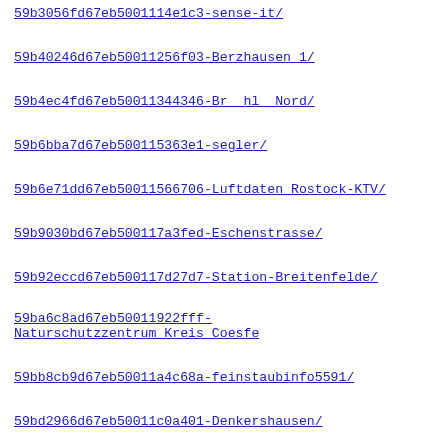59b3056fd67eb5001114e1c3-sense-it/
59b40246d67eb50011256f03-Berzhausen 1/
59b4ec4fd67eb50011344346-Br  hl  Nord/
59b6bba7d67eb500115363e1-segler/
59b6e71dd67eb50011566706-Luftdaten Rostock-KTV/
59b9030bd67eb500117a3fed-Eschenstrasse/
59b92eccd67eb500117d27d7-Station-Breitenfelde/
59ba6c8ad67eb50011922fff-Naturschutzzentrum Kreis Coesfe
59bb8cb9d67eb50011a4c68a-feinstaubinfo5591/
59bd2966d67eb50011c0a401-Denkershausen/